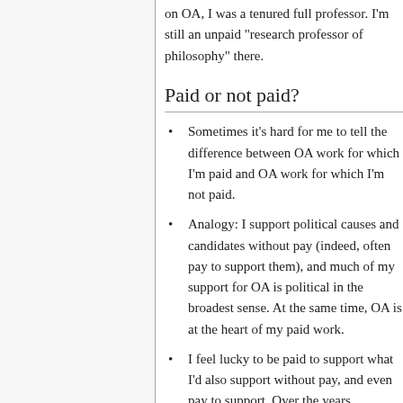on OA, I was a tenured full professor. I'm still an unpaid "research professor of philosophy" there.
Paid or not paid?
Sometimes it's hard for me to tell the difference between OA work for which I'm paid and OA work for which I'm not paid.
Analogy: I support political causes and candidates without pay (indeed, often pay to support them), and much of my support for OA is political in the broadest sense. At the same time, OA is at the heart of my paid work.
I feel lucky to be paid to support what I'd also support without pay, and even pay to support. Over the years